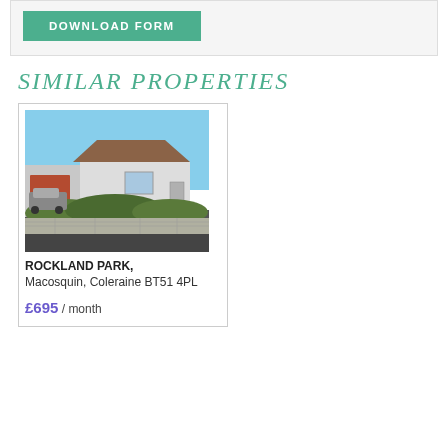DOWNLOAD FORM
SIMILAR PROPERTIES
[Figure (photo): Exterior photo of a bungalow-style house with a white/cream render finish, brown roof, a car in the driveway, and a stone retaining wall with bushes in front. Clear blue sky in the background.]
ROCKLAND PARK, Macosquin, Coleraine BT51 4PL
£695 / month